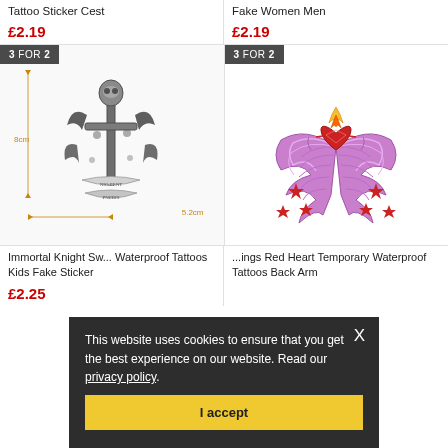Tattoo Sticker Cest
£2.19
Fake Women Men
£2.19
[Figure (photo): Tattoo sticker product image – black and grey knight/sword design with 8cm x 5.2cm dimension labels, with 3 FOR 2 badge]
[Figure (photo): Tattoo sticker product image – colorful purple angel wings with red heart and stars design, with 3 FOR 2 badge]
Immortal Knight Sw... Waterproof Tattoos Kids Fake Sticker
£2.25
...ings Red Heart Temporary Waterproof Tattoos Back Arm
This website uses cookies to ensure that you get the best experience on our website. Read our privacy policy.
I accept